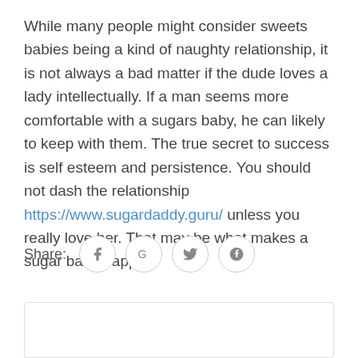While many people might consider sweets babies being a kind of naughty relationship, it is not always a bad matter if the dude loves a lady intellectually. If a man seems more comfortable with a sugars baby, he can likely to keep with them. The true secret to success is self esteem and persistence. You should not dash the relationship https://www.sugardaddy.guru/ unless you really love her. That may be what makes a sugar baby happy.
Share: